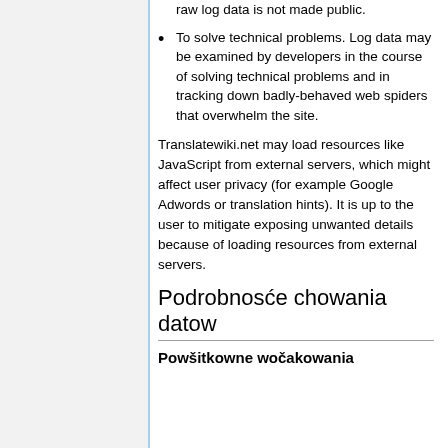raw log data is not made public.
To solve technical problems. Log data may be examined by developers in the course of solving technical problems and in tracking down badly-behaved web spiders that overwhelm the site.
Translatewiki.net may load resources like JavaScript from external servers, which might affect user privacy (for example Google Adwords or translation hints). It is up to the user to mitigate exposing unwanted details because of loading resources from external servers.
Podrobnosće chowania datow
Powšitkowne wočakowania